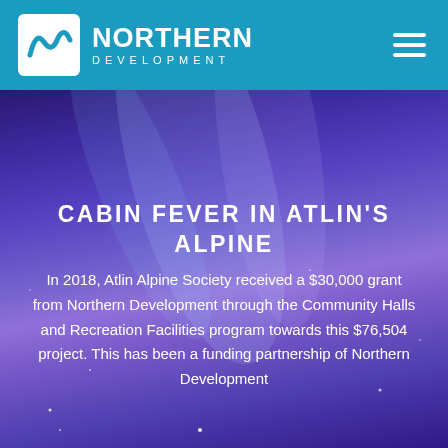NORTHERN DEVELOPMENT
CABIN FEVER IN ATLIN'S ALPINE
In 2018, Atlin Alpine Society received a $30,000 grant from Northern Development through the Community Halls and Recreation Facilities program towards this $76,504 project. This has been a funding partnership of Northern Development